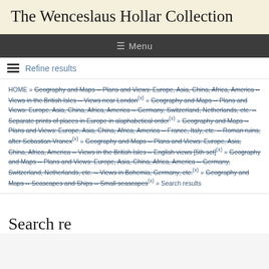The Wenceslaus Hollar Collection
≡ Menu
Refine results
HOME » Geography and Maps -- Plans and Views: Europe, Asia, China, Africa, America -- Views in the British Isles -- Views near London (x) » Geography and Maps -- Plans and Views: Europe, Asia, China, Africa, America -- Germany, Switzerland, Netherlands, etc. -- Separate prints of places in Europe in alaphabetical order (x) » Geography and Maps -- Plans and Views: Europe, Asia, China, Africa, America -- France, Italy, etc. -- Roman ruins, after Sebastian Vranex (x) » Geography and Maps -- Plans and Views: Europe, Asia, China, Africa, America -- Views in the British Isles -- English views [5th set] (x) » Geography and Maps -- Plans and Views: Europe, Asia, China, Africa, America -- Germany, Switzerland, Netherlands, etc. -- Views in Bohemia, Germany, etc. (x) » Geography and Maps -- Seascapes and Ships -- Small seascapes (x) » Search results
Search results